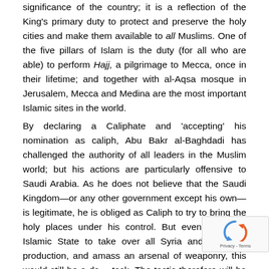significance of the country; it is a reflection of the King's primary duty to protect and preserve the holy cities and make them available to all Muslims. One of the five pillars of Islam is the duty (for all who are able) to perform Hajj, a pilgrimage to Mecca, once in their lifetime; and together with al-Aqsa mosque in Jerusalem, Mecca and Medina are the most important Islamic sites in the world.
By declaring a Caliphate and 'accepting' his nomination as caliph, Abu Bakr al-Baghdadi has challenged the authority of all leaders in the Muslim world; but his actions are particularly offensive to Saudi Arabia. As he does not believe that the Saudi Kingdom—or any other government except his own—is legitimate, he is obliged as Caliph to try to bring the holy places under his control. But even were the Islamic State to take over all Syria and Iraq's oil production, and amass an arsenal of weaponry, this would still be a da task. The tactic therefore will be to promote internal and try to chip away at the foundations of state pow